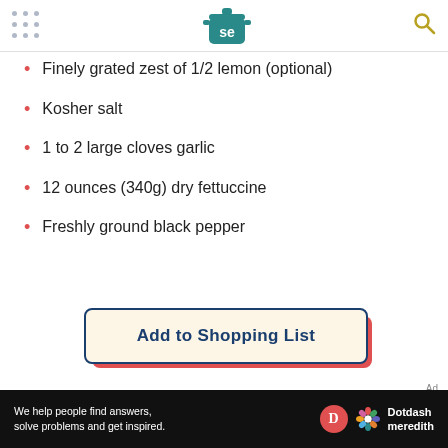Serious Eats - se logo, hamburger menu, search icon
Finely grated zest of 1/2 lemon (optional)
Kosher salt
1 to 2 large cloves garlic
12 ounces (340g) dry fettuccine
Freshly ground black pepper
Add to Shopping List
We help people find answers, solve problems and get inspired. Dotdash meredith